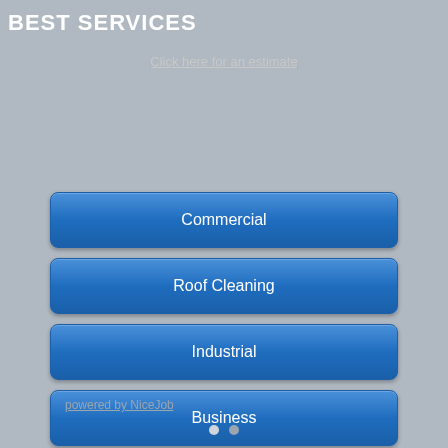BEST SERVICES
Click here for an estimate
Commercial
Roof Cleaning
Industrial
Business
powered by NiceJob